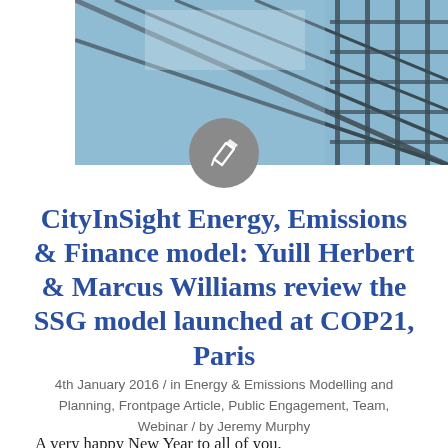[Figure (photo): Architectural glass ceiling/roof structure with blue sky visible through panes, partial view cropped at top of page]
CityInSight Energy, Emissions & Finance model: Yuill Herbert & Marcus Williams review the SSG model launched at COP21, Paris
4th January 2016 / in Energy & Emissions Modelling and Planning, Frontpage Article, Public Engagement, Team, Webinar / by Jeremy Murphy
A very happy New Year to all of you,